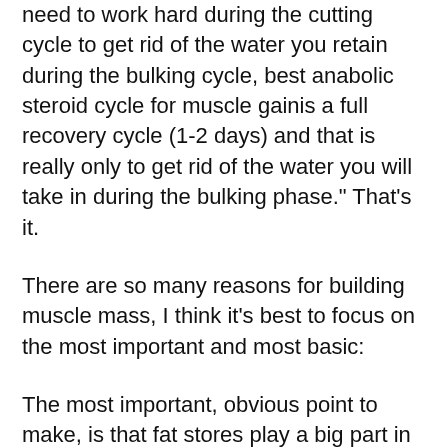need to work hard during the cutting cycle to get rid of the water you retain during the bulking cycle, best anabolic steroid cycle for muscle gainis a full recovery cycle (1-2 days) and that is really only to get rid of the water you will take in during the bulking phase." That's it.
There are so many reasons for building muscle mass, I think it's best to focus on the most important and most basic:
The most important, obvious point to make, is that fat stores play a big part in fat gain, but this doesn't mean you need to focus to get fat just to get lean, competition cutting steroid cycle. In our body, fat stores aren't actually stored as fat, they're stored as fatty acids (the hormones responsible for fat burning). Fat storage is regulated by the hormones leptin and ghrelin, which in turn can be boosted by a variety of food intake